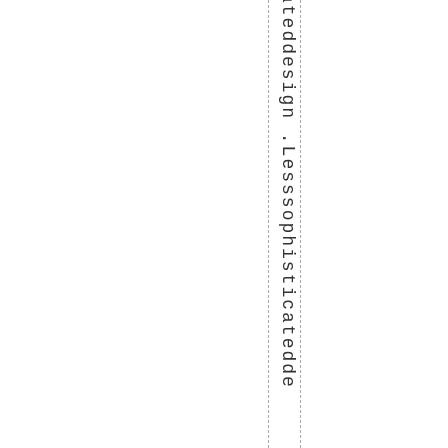ateddesign .Lesssophisticatedde